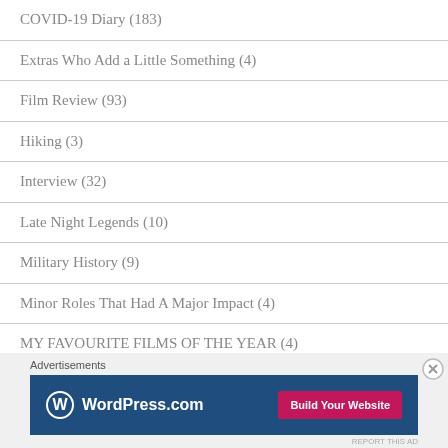COVID-19 Diary (183)
Extras Who Add a Little Something (4)
Film Review (93)
Hiking (3)
Interview (32)
Late Night Legends (10)
Military History (9)
Minor Roles That Had A Major Impact (4)
MY FAVOURITE FILMS OF THE YEAR (4)
Published (192)
Advertisements
[Figure (screenshot): WordPress.com advertisement banner with logo and 'Build Your Website' button]